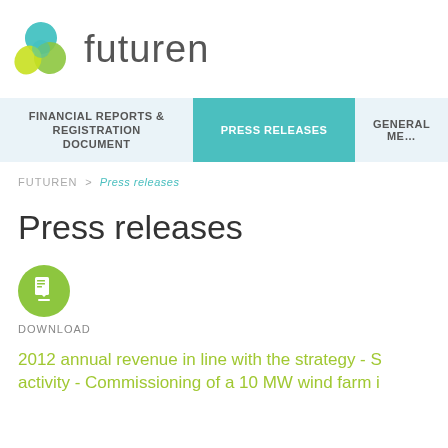[Figure (logo): Futuren company logo: circular overlapping leaf shapes in teal, green, and yellow-green, with the word 'futuren' in light gray sans-serif next to it]
FINANCIAL REPORTS & REGISTRATION DOCUMENT | PRESS RELEASES | GENERAL ME...
FUTUREN > Press releases
Press releases
[Figure (illustration): Green circular download icon with a document/download arrow symbol inside]
DOWNLOAD
2012 annual revenue in line with the strategy - S activity - Commissioning of a 10 MW wind farm i